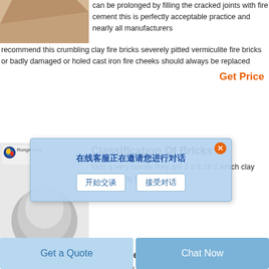[Figure (photo): Brown/tan colored brick or refractory material product image]
can be prolonged by filling the cracked joints with fire cement this is perfectly acceptable practice and nearly all manufacturers recommend this crumbling clay fire bricks severely pitted vermiculite fire bricks or badly damaged or holed cast iron fire cheeks should always be replaced
Get Price
[Figure (photo): Rongsheng brand logo and grey powder/material product image]
Classification Of Bricks
form a very ctories they are 2 o 3 2h 2 which clay type e elong to the neutral class of refractories raw material used for these fire bricks is a mineral called chromite
[Figure (screenshot): Popup chat dialog with Chinese text: 在线客服正在邀请您进行对话 with buttons 开始交谈 and 接受对话]
Get Price
10 Circular Fire Pit Section A
Get a Quote
Chat Now